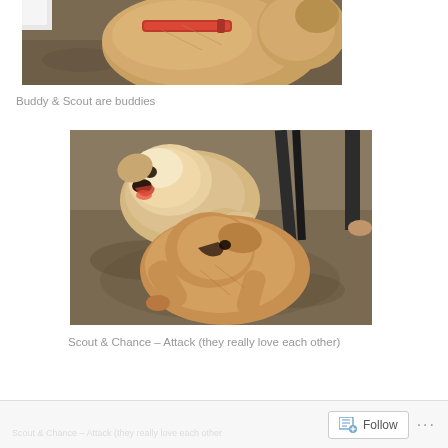[Figure (photo): Cropped top portion of a tan/brown dog with a red collar, viewed from above, on dirt ground]
Buddy & Scout are buddies
[Figure (photo): Two dogs playing/attacking each other on dirt ground. One lighter dog (Scout) appears to be biting or mouthing the other tan dog (Chance). A dark leash and chair leg visible in background.]
Scout & Chance – Attack (they really love each other)
Follow ...